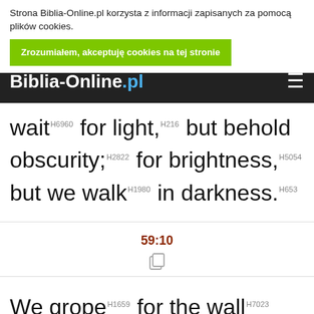Strona Biblia-Online.pl korzysta z informacji zapisanych za pomocą plików cookies. Zrozumiałem, akceptuję cookies na tej stronie
Biblia-Online.pl
far from us, neither doth justice overtake us; we wait H6960 for light, H216 but behold obscurity; H2822 for brightness, H5054 but we walk H1980 in darkness. H653
59:10
We grope H1659 for the wall H7023 like the blind, H5787 and we